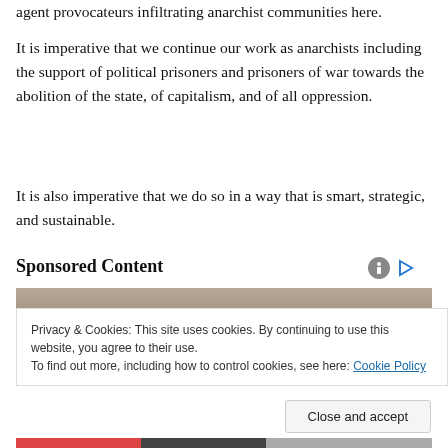agent provocateurs infiltrating anarchist communities here.
It is imperative that we continue our work as anarchists including the support of political prisoners and prisoners of war towards the abolition of the state, of capitalism, and of all oppression.
It is also imperative that we do so in a way that is smart, strategic, and sustainable.
Sponsored Content
[Figure (photo): Partial photo strip visible at top of sponsored content area]
Privacy & Cookies: This site uses cookies. By continuing to use this website, you agree to their use.
To find out more, including how to control cookies, see here: Cookie Policy
[Figure (other): Bottom colored bar strip]